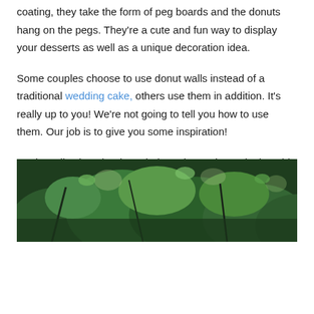coating, they take the form of peg boards and the donuts hang on the pegs. They're a cute and fun way to display your desserts as well as a unique decoration idea.
Some couples choose to use donut walls instead of a traditional wedding cake, others use them in addition. It's really up to you! We're not going to tell you how to use them. Our job is to give you some inspiration!
So, let's dive into the donut hole and get a better look at this tasty trend!
1.
[Figure (photo): Outdoor photo showing green foliage and leaves, partially visible at the bottom of the page, likely a wedding venue garden setting]